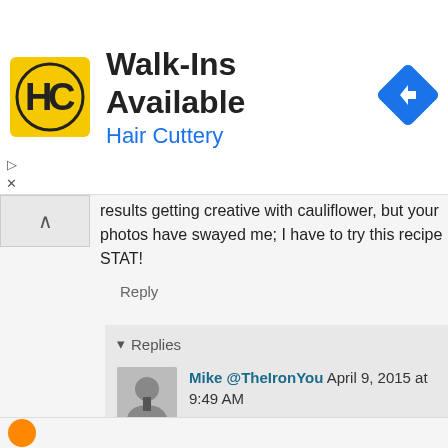[Figure (logo): Hair Cuttery advertisement banner with HC logo, 'Walk-Ins Available' headline and 'Hair Cuttery' subtitle, with a blue direction/map icon on the right]
results getting creative with cauliflower, but your photos have swayed me; I have to try this recipe STAT!
Reply
▾ Replies
Mike @TheIronYou April 9, 2015 at 9:49 AM
Awesome Mel!
Reply